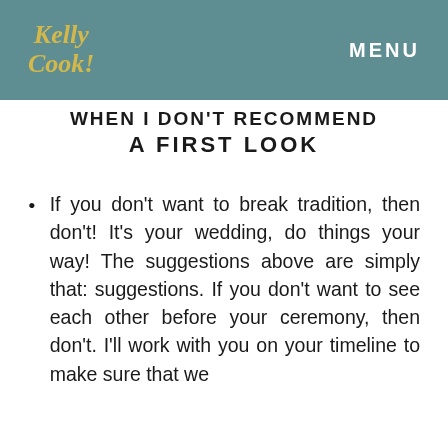Kelly Cook! MENU
WHEN I DON'T RECOMMEND A FIRST LOOK
If you don't want to break tradition, then don't! It's your wedding, do things your way! The suggestions above are simply that: suggestions. If you don't want to see each other before your ceremony, then don't. I'll work with you on your timeline to make sure that we